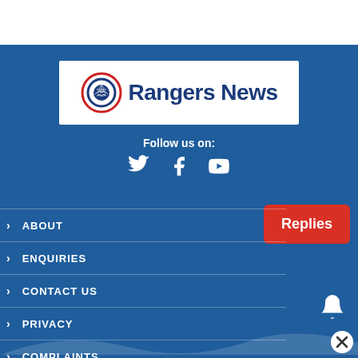[Figure (logo): Rangers News logo with football icon and blue text on white background]
Follow us on:
[Figure (illustration): Social media icons: Twitter bird, Facebook f, YouTube play button]
ABOUT
ENQUIRIES
CONTACT US
PRIVACY
COMPLAINTS